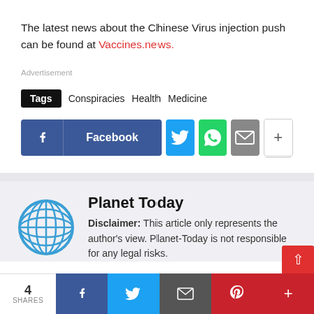The latest news about the Chinese Virus injection push can be found at Vaccines.news.
Advertisement
Tags  Conspiracies  Health  Medicine
[Figure (other): Social share buttons: Facebook, Twitter, WhatsApp, Email, Plus]
Planet Today
Disclaimer: This article only represents the author's view. Planet-Today is not responsible for any legal risks.
4 SHARES  [Facebook] [Twitter] [Email] [Pinterest] [+]